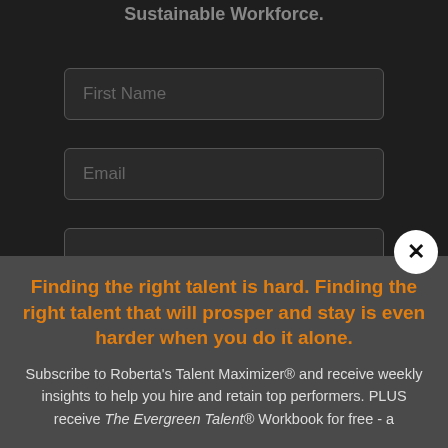Sustainable Workforce.
First Name
Email
Finding the right talent is hard. Finding the right talent that will prosper and stay is even harder when you do it alone.
Subscribe to Roberta's Talent Maximizer® and receive weekly insights to help you hire and retain top performers. PLUS receive The Evergreen Talent® Workbook for free - a